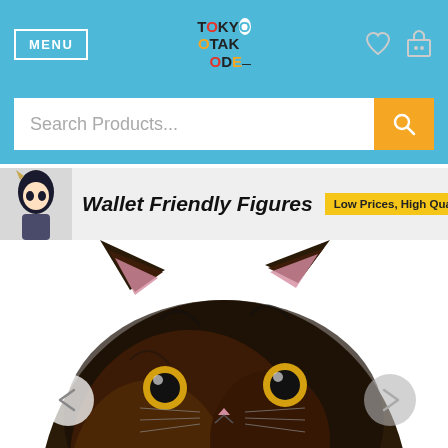MENU | Tokyo Otaku Mode logo | heart icon | cart icon
Search Products...
[Figure (illustration): Wallet Friendly Figures banner with anime character and text 'Low Prices, High Quality!']
[Figure (photo): Close-up photo of a tortoiseshell cat plush toy with golden eyes, pink nose, and pointed ears with pink inner lining]